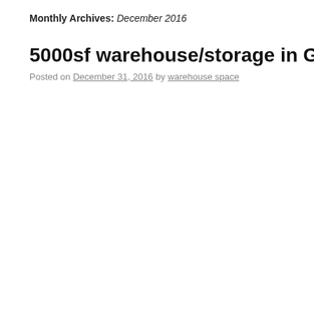Monthly Archives: December 2016
5000sf warehouse/storage in Gasport $65
Posted on December 31, 2016 by warehouse space